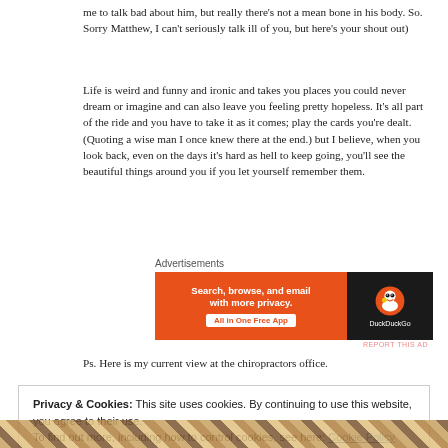me to talk bad about him, but really there's not a mean bone in his body. So. Sorry Matthew, I can't seriously talk ill of you, but here's your shout out)
Life is weird and funny and ironic and takes you places you could never dream or imagine and can also leave you feeling pretty hopeless. It's all part of the ride and you have to take it as it comes; play the cards you're dealt. (Quoting a wise man I once knew there at the end.) but I believe, when you look back, even on the days it's hard as hell to keep going, you'll see the beautiful things around you if you let yourself remember them.
[Figure (screenshot): DuckDuckGo advertisement banner: orange left panel with text 'Search, browse, and email with more privacy. All in One Free App' and dark right panel with DuckDuckGo logo and name]
Ps. Here is my current view at the chiropractors office.
Privacy & Cookies: This site uses cookies. By continuing to use this website, you agree to their use.
To find out more, including how to control cookies, see here: Cookie Policy
Close and accept
[Figure (photo): Partial photo visible at bottom of page, appears to show a colorful woven or textile pattern]